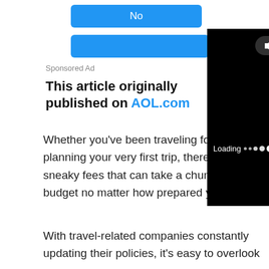[Figure (screenshot): Blue 'No' button UI element]
[Figure (screenshot): Blue partial button UI element below No button]
Sponsored Ad
[Figure (screenshot): Video player overlay with black background, Enable audio button, Loading indicator with dots, and 9 seconds countdown]
This article originally published on AOL.com
Whether you've been traveling for years or planning your very first trip, there are a few sneaky fees that can take a chunk of your budget no matter how prepared you are.
With travel-related companies constantly updating their policies, it's easy to overlook